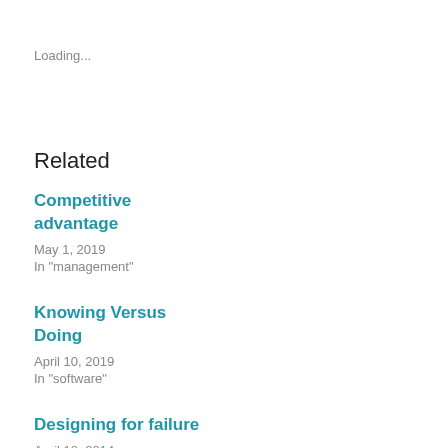Loading...
Related
Competitive advantage
May 1, 2019
In "management"
Knowing Versus Doing
April 10, 2019
In "software"
Designing for failure
April 18, 2014
In "architecture"